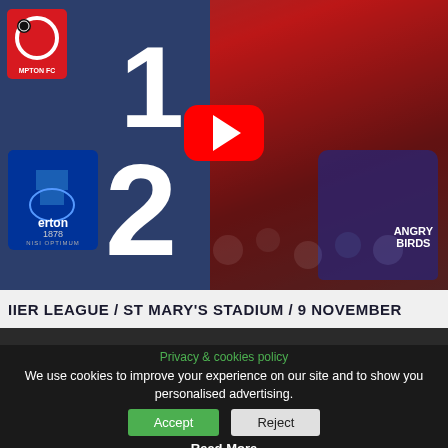[Figure (screenshot): YouTube thumbnail showing Southampton 1-2 Everton Premier League match at St Mary's Stadium on 9 November. Score panel on left with club badges and white score numbers, player in Everton blue kit on right, red YouTube play button in center.]
IIER LEAGUE / ST MARY'S STADIUM / 9 NOVEMBER
Privacy & cookies policy
We use cookies to improve your experience on our site and to show you personalised advertising.
Accept
Reject
Read More